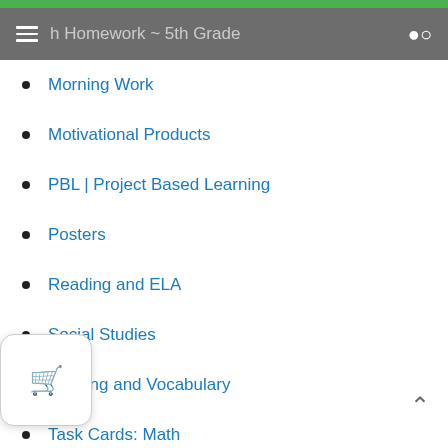Math Homework ~ 5th Grade
Morning Work
Motivational Products
PBL | Project Based Learning
Posters
Reading and ELA
Social Studies
Spelling and Vocabulary
Task Cards: Math
Task Cards: Reading
Task Cards: Writing
Teacher Organization